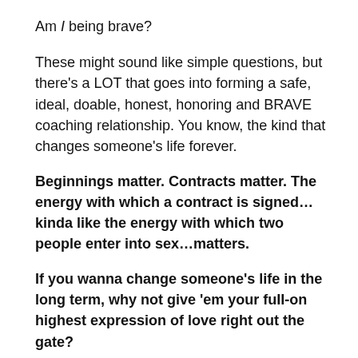Am I being brave?
These might sound like simple questions, but there’s a LOT that goes into forming a safe, ideal, doable, honest, honoring and BRAVE coaching relationship. You know, the kind that changes someone’s life forever.
Beginnings matter. Contracts matter. The energy with which a contract is signed…kinda like the energy with which two people enter into sex…matters.
If you wanna change someone’s life in the long term, why not give ‘em your full-on highest expression of love right out the gate?
That’s what ConSensual Sales is all about. Loving the human you’re talking to, and loving yourself, too…enough